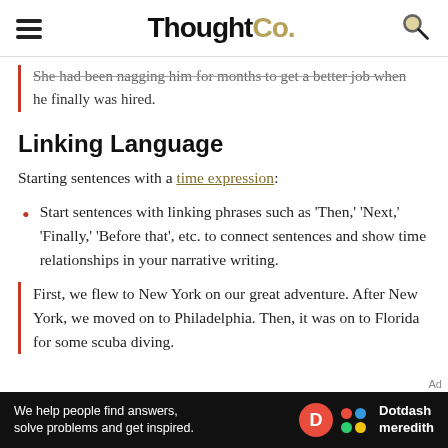ThoughtCo.
She had been nagging him for months to get a better job when he finally was hired.
Linking Language
Starting sentences with a time expression:
Start sentences with linking phrases such as 'Then,' 'Next,' 'Finally,' 'Before that', etc. to connect sentences and show time relationships in your narrative writing.
First, we flew to New York on our great adventure. After New York, we moved on to Philadelphia. Then, it was on to Florida for some scuba diving.
Ad
We help people find answers, solve problems and get inspired. Dotdash meredith